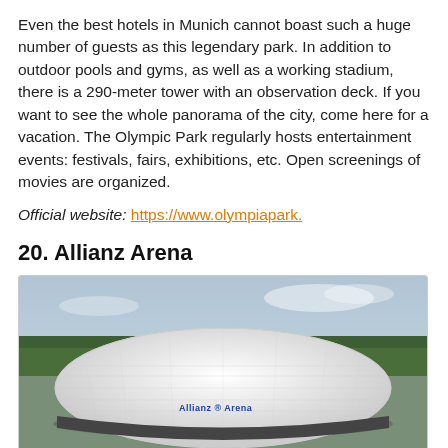Even the best hotels in Munich cannot boast such a huge number of guests as this legendary park. In addition to outdoor pools and gyms, as well as a working stadium, there is a 290-meter tower with an observation deck. If you want to see the whole panorama of the city, come here for a vacation. The Olympic Park regularly hosts entertainment events: festivals, fairs, exhibitions, etc. Open screenings of movies are organized.
Official website: https://www.olympiapark.
20. Allianz Arena
[Figure (photo): Aerial photograph of the Allianz Arena in Munich — a large oval white stadium with distinctive bubble-like exterior panels, surrounded by green trees and open grounds. The words 'Allianz Arena' are visible on the facade.]